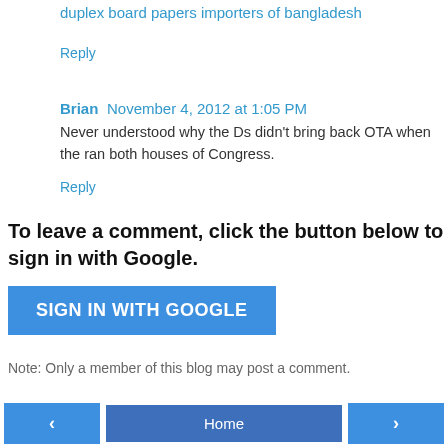duplex board papers importers of bangladesh
Reply
Brian  November 4, 2012 at 1:05 PM
Never understood why the Ds didn't bring back OTA when the ran both houses of Congress.
Reply
To leave a comment, click the button below to sign in with Google.
[Figure (screenshot): Blue button labeled SIGN IN WITH GOOGLE]
Note: Only a member of this blog may post a comment.
[Figure (screenshot): Navigation buttons: left arrow, Home, right arrow]